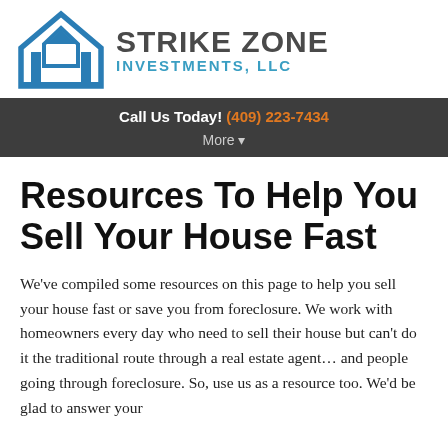[Figure (logo): Strike Zone Investments LLC logo with blue house/mountain icon and gray and blue text]
Call Us Today! (409) 223-7434
More ▾
Resources To Help You Sell Your House Fast
We've compiled some resources on this page to help you sell your house fast or save you from foreclosure. We work with homeowners every day who need to sell their house but can't do it the traditional route through a real estate agent… and people going through foreclosure. So, use us as a resource too. We'd be glad to answer your